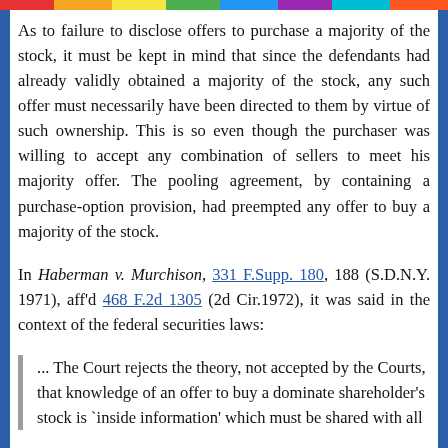As to failure to disclose offers to purchase a majority of the stock, it must be kept in mind that since the defendants had already validly obtained a majority of the stock, any such offer must necessarily have been directed to them by virtue of such ownership. This is so even though the purchaser was willing to accept any combination of sellers to meet his majority offer. The pooling agreement, by containing a purchase-option provision, had preempted any offer to buy a majority of the stock.
In Haberman v. Murchison, 331 F.Supp. 180, 188 (S.D.N.Y. 1971), aff'd 468 F.2d 1305 (2d Cir.1972), it was said in the context of the federal securities laws:
... The Court rejects the theory, not accepted by the Courts, that knowledge of an offer to buy a dominate shareholder's stock is `inside information' which must be shared with all